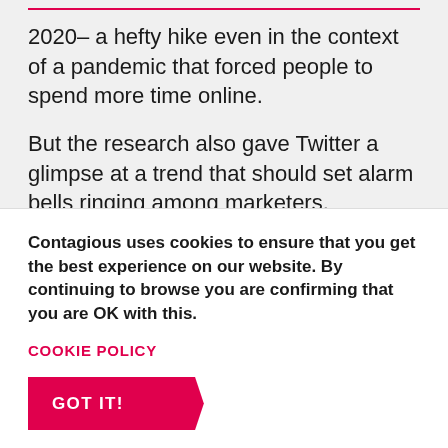2020– a hefty hike even in the context of a pandemic that forced people to spend more time online.
But the research also gave Twitter a glimpse at a trend that should set alarm bells ringing among marketers.
When Twitter asked respondents to look at redacted tweets and guess which brand was responsible, only 38% could pick the right brand from a list of five options. And among those who did get it right, 17%
Contagious uses cookies to ensure that you get the best experience on our website. By continuing to browse you are confirming that you are OK with this.
COOKIE POLICY
GOT IT!